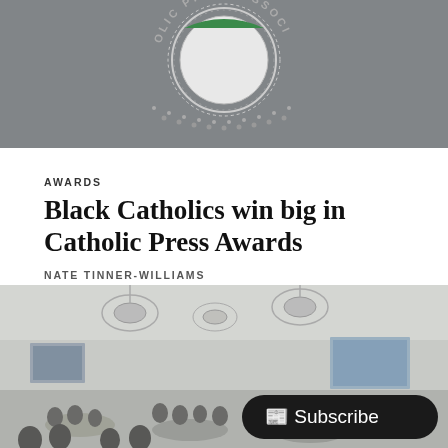[Figure (logo): Catholic Press Association seal/badge logo on grey background, partially cropped showing the text 'OLIC PRESS ASSOCI' around a circular badge with decorative border]
AWARDS
Black Catholics win big in Catholic Press Awards
NATE TINNER-WILLIAMS
July 5, 2021
[Figure (photo): Interior of a large banquet/conference hall with chandeliers, round tables with attendees seated, projection screens visible, a Subscribe button overlay in the bottom right corner]